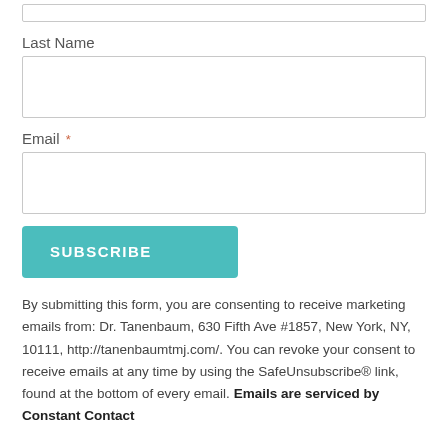Last Name
[Figure (other): Empty input field for Last Name]
Email *
[Figure (other): Empty input field for Email]
SUBSCRIBE
By submitting this form, you are consenting to receive marketing emails from: Dr. Tanenbaum, 630 Fifth Ave #1857, New York, NY, 10111, http://tanenbaumtmj.com/. You can revoke your consent to receive emails at any time by using the SafeUnsubscribe® link, found at the bottom of every email. Emails are serviced by Constant Contact